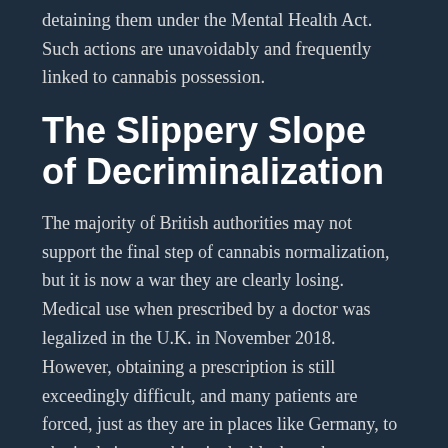detaining them under the Mental Health Act. Such actions are unavoidably and frequently linked to cannabis possession.
The Slippery Slope of Decriminalization
The majority of British authorities may not support the final step of cannabis normalization, but it is now a war they are clearly losing. Medical use when prescribed by a doctor was legalized in the U.K. in November 2018. However, obtaining a prescription is still exceedingly difficult, and many patients are forced, just as they are in places like Germany, to obtain their cannabis via the black market—or grow their own. Beyond this, the legit CBD industry is growing in leaps and bounds.
For all of these reasons, it is imminently clear that the U.K. is on the path to decriminalization, if not full legalization.